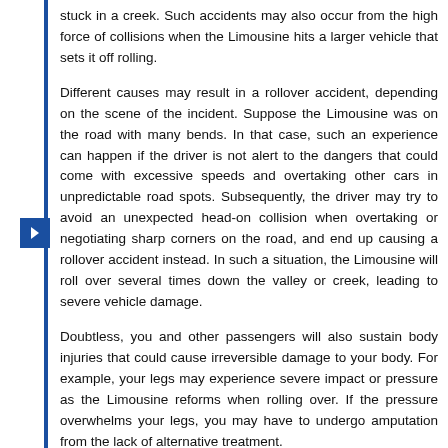stuck in a creek. Such accidents may also occur from the high force of collisions when the Limousine hits a larger vehicle that sets it off rolling.
Different causes may result in a rollover accident, depending on the scene of the incident. Suppose the Limousine was on the road with many bends. In that case, such an experience can happen if the driver is not alert to the dangers that could come with excessive speeds and overtaking other cars in unpredictable road spots. Subsequently, the driver may try to avoid an unexpected head-on collision when overtaking or negotiating sharp corners on the road, and end up causing a rollover accident instead. In such a situation, the Limousine will roll over several times down the valley or creek, leading to severe vehicle damage.
Doubtless, you and other passengers will also sustain body injuries that could cause irreversible damage to your body. For example, your legs may experience severe impact or pressure as the Limousine reforms when rolling over. If the pressure overwhelms your legs, you may have to undergo amputation from the lack of alternative treatment.